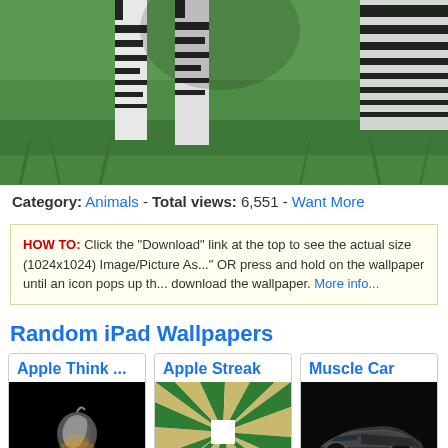[Figure (photo): Cropped zebra photo showing legs and lower body against green grass background]
Category: Animals - Total views: 6,551 - Want More
HOW TO: Click the "Download" link at the top to see the actual size (1024x1024). Image/Picture As..." OR press and hold on the wallpaper until an icon pops up th... download the wallpaper. More info...
Random iPad Wallpapers
Apple Think ...
[Figure (photo): Apple Think wallpaper – Apple logo on black background]
Apple Streak
[Figure (illustration): Apple Streak wallpaper – green and white radiating stripes pinwheel pattern]
Muscle Car
[Figure (photo): Muscle Car wallpaper – dark muscle car on black background]